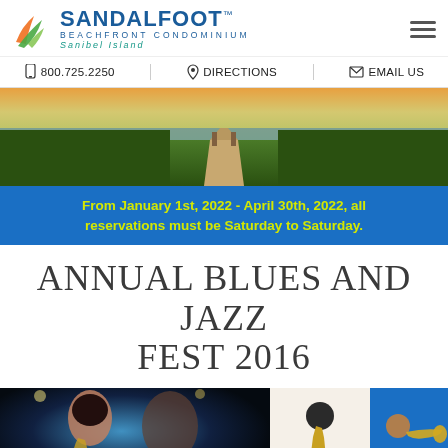SANDALFOOT™ BEACHFRONT CONDOMINIUM Sanibel Island
800.725.2250   DIRECTIONS   EMAIL US
[Figure (photo): Scenic boardwalk path through coastal marshland with sunset sky]
From January 1st, 2022 - April 30th, 2022, all reservations must be Saturday to Saturday.
ANNUAL BLUES AND JAZZ FEST 2016
[Figure (photo): Female saxophone player performing on stage at blues and jazz festival; Sanibel Blues & Jazz logo; trumpet player]